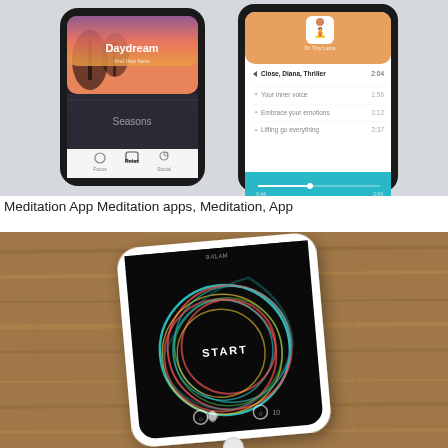[Figure (screenshot): Two smartphone screens showing a meditation app UI. Left screen shows 'Daydream' playlist with tropical sunset and 'Seasons' option with navigation bar at bottom. Right screen shows a yoga instructor profile with session list (Close, Diana, Thriller 2:04; Your inner voice 1:56; Embrace your emotions 3:12; Lifting go everything 3:37) and a teal playback control bar.]
Meditation App Meditation apps, Meditation, App
[Figure (photo): A white iPhone resting on a wooden surface. The phone screen shows a dark meditation app with colorful circular rings (red, teal, yellow) and a 'START' button in the center. Small icons are visible at the bottom of the screen.]